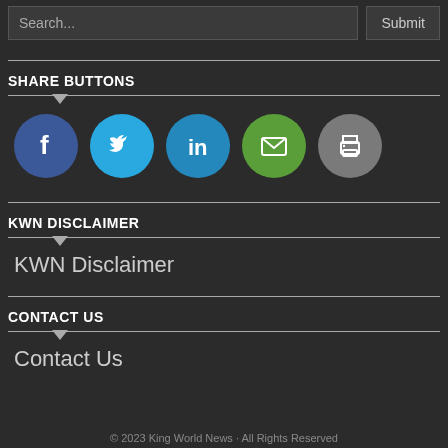[Figure (screenshot): Search input box with placeholder 'Search...' and a Submit button]
SHARE BUTTONS
[Figure (infographic): Row of five social share icon circles: Facebook (blue), Twitter (light blue), LinkedIn (blue), Email (green), Print (gray)]
KWN DISCLAIMER
KWN Disclaimer
CONTACT US
Contact Us
© 2023 King World News · All Rights Reserved